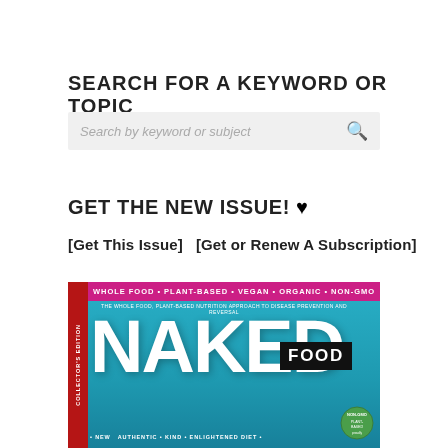SEARCH FOR A KEYWORD OR TOPIC
[Figure (screenshot): Search input box with placeholder text 'Search by keyword or subject' and a magnifying glass search icon on the right]
GET THE NEW ISSUE! ♥
[Get This Issue]   [Get or Renew A Subscription]
[Figure (photo): Naked Food Magazine cover - Collector's Edition. Top bar in magenta reads: WHOLE FOOD • PLANT-BASED • VEGAN • ORGANIC • NON-GMO. Below: THE WHOLE FOOD, PLANT-BASED NUTRITION APPROACH TO DISEASE PREVENTION AND REVERSAL. Large white text 'NAKED' with 'FOOD' in a black box overlay. Bottom text: NEW • AUTHENTIC • KIND • ENLIGHTENED DIET. Red left sidebar reads COLLECTOR'S EDITION vertically. Green badge bottom right.]